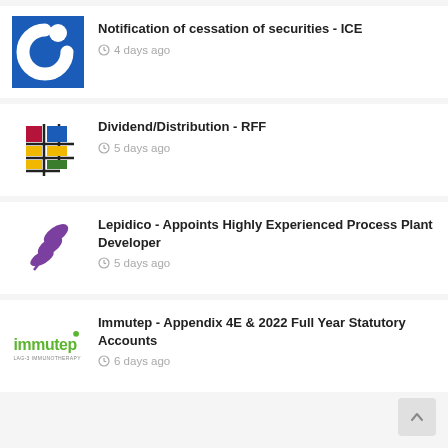[Figure (logo): Blue square logo with white C/G shape - ICE company logo]
Notification of cessation of securities - ICE
4 days ago
[Figure (logo): Colorful grid logo with red, blue, yellow, green squares - RFF company logo]
Dividend/Distribution - RFF
5 days ago
[Figure (logo): Purple feather/leaf logo - Lepidico company logo]
Lepidico - Appoints Highly Experienced Process Plant Developer
5 days ago
[Figure (logo): Immutep green text logo with immunotherapy tagline]
Immutep - Appendix 4E & 2022 Full Year Statutory Accounts
6 days ago